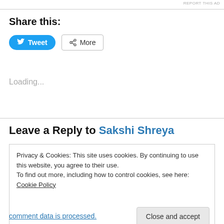REPORT THIS AD
Share this:
[Figure (other): Tweet button (blue rounded) and More button (bordered)]
Loading...
Leave a Reply to Sakshi Shreya
Privacy & Cookies: This site uses cookies. By continuing to use this website, you agree to their use.
To find out more, including how to control cookies, see here: Cookie Policy
Close and accept
comment data is processed.